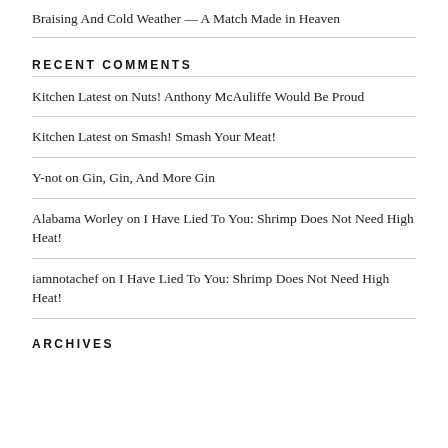Braising And Cold Weather — A Match Made in Heaven
RECENT COMMENTS
Kitchen Latest on Nuts! Anthony McAuliffe Would Be Proud
Kitchen Latest on Smash! Smash Your Meat!
Y-not on Gin, Gin, And More Gin
Alabama Worley on I Have Lied To You: Shrimp Does Not Need High Heat!
iamnotachef on I Have Lied To You: Shrimp Does Not Need High Heat!
ARCHIVES